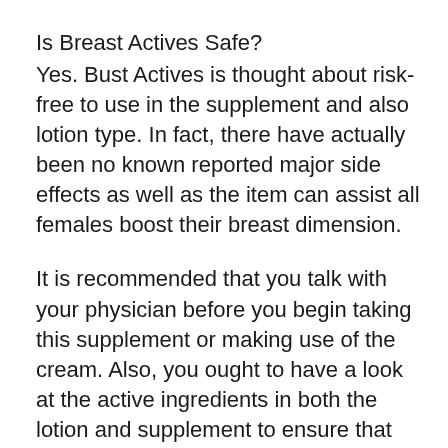Is Breast Actives Safe?
Yes. Bust Actives is thought about risk-free to use in the supplement and also lotion type. In fact, there have actually been no known reported major side effects as well as the item can assist all females boost their breast dimension.
It is recommended that you talk with your physician before you begin taking this supplement or making use of the cream. Also, you ought to have a look at the active ingredients in both the lotion and supplement to ensure that you are not adverse any one of the ingredients. While the item itself is risk-free, an allergy can still